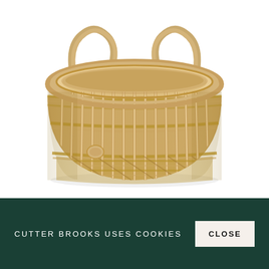[Figure (photo): A round wicker/rattan basket with two looped handles at the top, open weave pattern on the sides showing vertical slats, denser weave at the bottom, and a small round tag on the lower front. The basket is photographed on a white background.]
CUTTER BROOKS USES COOKIES
CLOSE